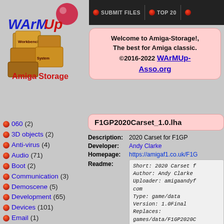[Figure (logo): WArMUp Amiga Storage logo with boxes and ball]
SUBMIT FILES | TOP 20
Welcome to Amiga-Storage!, The best for Amiga classic. ©2016-2022 WArMUp-Asso.org
060 (2)
3D objects (2)
Anti-virus (4)
Audio (71)
Boot (2)
Communication (3)
Demoscene (5)
Development (65)
Devices (101)
Email (1)
Emulation (12)
Files (62)
Games (119)
Graphics (27)
Hardware (9)
Icons (6)
Keys (1)
F1GP2020Carset_1.0.lha
Description: 2020 Carset for F1GP
Developer: Andy Clarke
Homepage: https://amigaf1.co.uk/F1G
Readme: Short: 2020 Carset f Author: Andy Clarke Uploader: amigaandyf com Type: game/data Version: 1.0Final Replaces: games/data/F1GP2020C
Upload Date: Dec 17 2020
Category: Games//Race